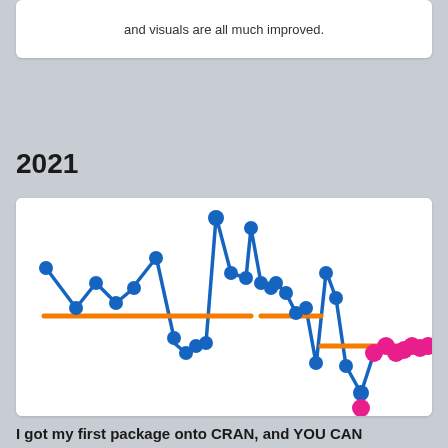and visuals are all much improved.
2021
[Figure (line-chart): A connected dot plot / line chart showing data points connected by blue lines with circular markers. An orange horizontal reference line runs through the middle portion of the chart. In the right portion, data points shift to pink/magenta color with a separate orange horizontal segment.]
I got my first package onto CRAN, and YOU CAN